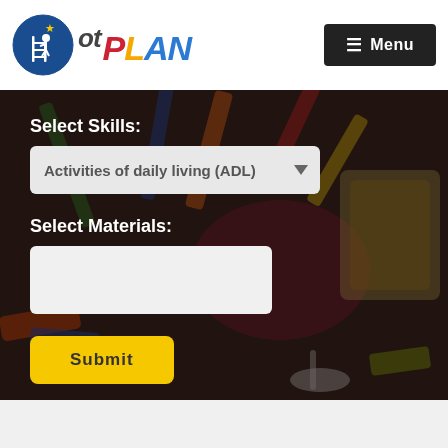[Figure (logo): OT Plan logo with circular blue icon showing a child on a ladder with a star, and colorful italic text 'ot PLAN']
≡ Menu
[Figure (photo): Background photo of colorful crayons, markers, craft materials and art supplies on a table, with a dark overlay]
Select Skills:
Activities of daily living (ADL)
Select Materials:
Submit